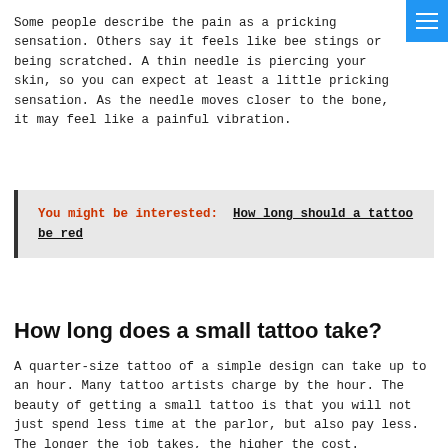Some people describe the pain as a pricking sensation. Others say it feels like bee stings or being scratched. A thin needle is piercing your skin, so you can expect at least a little pricking sensation. As the needle moves closer to the bone, it may feel like a painful vibration.
You might be interested: How long should a tattoo be red
How long does a small tattoo take?
A quarter-size tattoo of a simple design can take up to an hour. Many tattoo artists charge by the hour. The beauty of getting a small tattoo is that you will not just spend less time at the parlor, but also pay less. The longer the job takes, the higher the cost.